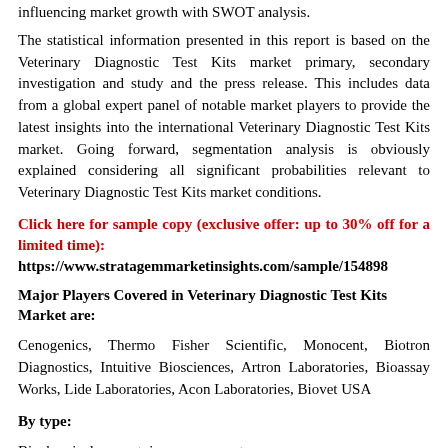influencing market growth with SWOT analysis.
The statistical information presented in this report is based on the Veterinary Diagnostic Test Kits market primary, secondary investigation and study and the press release. This includes data from a global expert panel of notable market players to provide the latest insights into the international Veterinary Diagnostic Test Kits market. Going forward, segmentation analysis is obviously explained considering all significant probabilities relevant to Veterinary Diagnostic Test Kits market conditions.
Click here for sample copy (exclusive offer: up to 30% off for a limited time):
https://www.stratagemmarketinsights.com/sample/154898
Major Players Covered in Veterinary Diagnostic Test Kits Market are:
Cenogenics, Thermo Fisher Scientific, Monocent, Biotron Diagnostics, Intuitive Biosciences, Artron Laboratories, Bioassay Works, Lide Laboratories, Acon Laboratories, Biovet USA
By type:
Biochemical reagent, immunoreagents
By application: